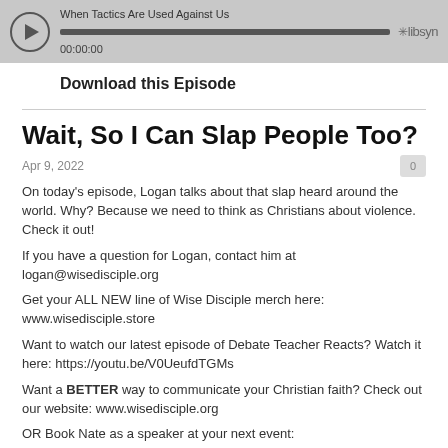[Figure (other): Audio podcast player widget with play button, progress bar, title 'When Tactics Are Used Against Us', timestamp 00:00:00, and Libsyn branding]
Download this Episode
Wait, So I Can Slap People Too?
Apr 9, 2022
On today's episode, Logan talks about that slap heard around the world. Why? Because we need to think as Christians about violence. Check it out!
If you have a question for Logan, contact him at logan@wisedisciple.org
Get your ALL NEW line of Wise Disciple merch here: www.wisedisciple.store
Want to watch our latest episode of Debate Teacher Reacts? Watch it here: https://youtu.be/V0UeufdTGMs
Want a BETTER way to communicate your Christian faith? Check out our website: www.wisedisciple.org
OR Book Nate as a speaker at your next event: https://wisedisciple.org/reserve/
Got a question in the area of theology, apologetics, or engaging the culture for